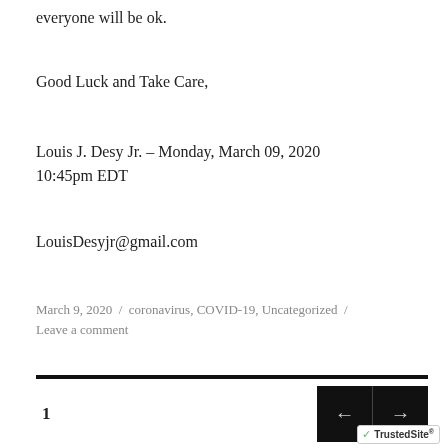everyone will be ok.
Good Luck and Take Care,
Louis J. Desy Jr. – Monday, March 09, 2020 10:45pm EDT
LouisDesyjr@gmail.com
March 9, 2020 / coronavirus, COVID-19, Uncategorized / Leave a comment